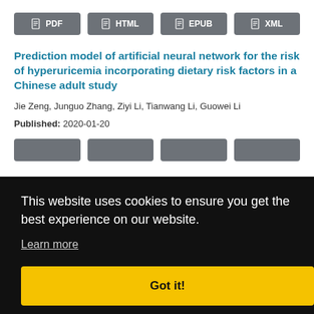[Figure (other): Row of format buttons: PDF, HTML, EPUB, XML]
Prediction model of artificial neural network for the risk of hyperuricemia incorporating dietary risk factors in a Chinese adult study
Jie Zeng, Junguo Zhang, Ziyi Li, Tianwang Li, Guowei Li
Published: 2020-01-20
[Figure (other): Cookie consent banner overlay: 'This website uses cookies to ensure you get the best experience on our website. Learn more. Got it!' button in yellow.]
[Figure (other): Partial row of format buttons at bottom: PDF, HTML, EPUB, XML]